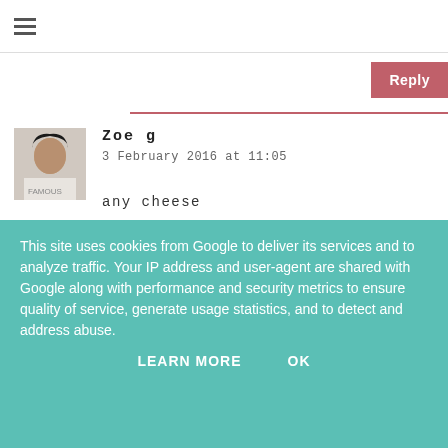☰ (hamburger menu)
Zoe g
3 February 2016 at 11:05
any cheese
Reply
Unknown
3 February 2016 at 13:59
This site uses cookies from Google to deliver its services and to analyze traffic. Your IP address and user-agent are shared with Google along with performance and security metrics to ensure quality of service, generate usage statistics, and to detect and address abuse.
LEARN MORE
OK